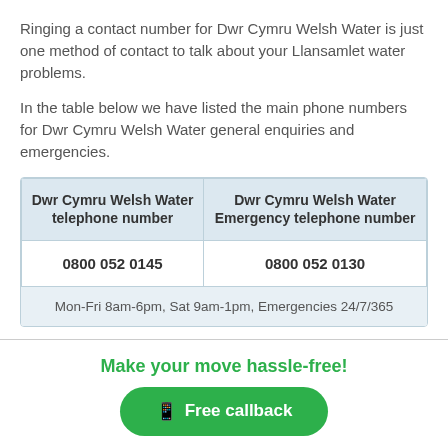Ringing a contact number for Dwr Cymru Welsh Water is just one method of contact to talk about your Llansamlet water problems.
In the table below we have listed the main phone numbers for Dwr Cymru Welsh Water general enquiries and emergencies.
| Dwr Cymru Welsh Water telephone number | Dwr Cymru Welsh Water Emergency telephone number |
| --- | --- |
| 0800 052 0145 | 0800 052 0130 |
| Mon-Fri 8am-6pm, Sat 9am-1pm, Emergencies 24/7/365 |  |
Make your move hassle-free!
Free callback